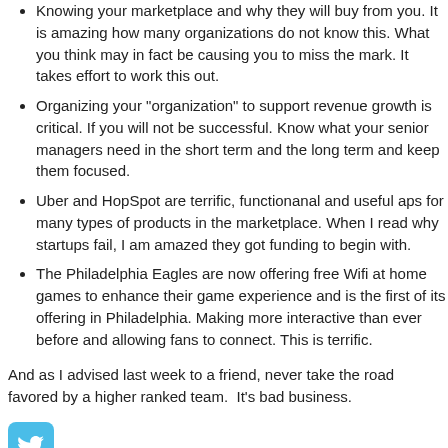Knowing your marketplace and why they will buy from you. It is amazing how many organizations do not know this. What you think may in fact be causing you to miss the mark. It takes effort to work this out.
Organizing your "organization" to support revenue growth is critical. If you will not be successful. Know what your senior managers need in the short term and the long term and keep them focused.
Uber and HopSpot are terrific, functionanal and useful aps for many types of products in the marketplace. When I read why startups fail, I am amazed they got funding to begin with.
The Philadelphia Eagles are now offering free Wifi at home games to enhance their game experience and is the first of its offering in Philadelphia. Making more interactive than ever before and allowing fans to connect. This is terrific.
And as I advised last week to a friend, never take the road favored by a higher ranked team. It's bad business.
[Figure (logo): Twitter bird logo icon in light blue square]
Posted at 09:40 AM | Permalink
Reblog (0)